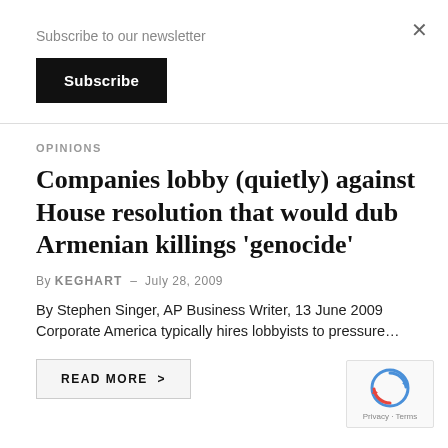Subscribe to our newsletter
Subscribe
×
OPINIONS
Companies lobby (quietly) against House resolution that would dub Armenian killings 'genocide'
By KEGHART – July 28, 2009
By Stephen Singer, AP Business Writer, 13 June 2009    Corporate America typically hires lobbyists to pressure…
READ MORE  >
[Figure (logo): reCAPTCHA badge with spinning arrows logo and Privacy · Terms text]